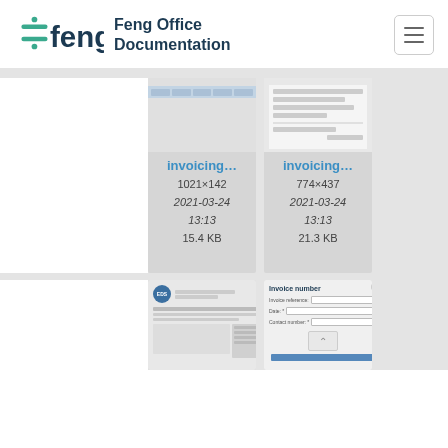[Figure (logo): Feng Office logo with teal divider icon and dark blue 'feng office' wordmark]
Feng Office Documentation
[Figure (screenshot): Thumbnail of invoicing spreadsheet table view, 1021x142px, 2021-03-24 13:13, 15.4 KB]
[Figure (screenshot): Thumbnail of invoicing form view, 774x437px, 2021-03-24 13:13, 21.3 KB]
[Figure (screenshot): Thumbnail of invoice with EDS logo]
[Figure (screenshot): Thumbnail of Invoice number dialog form]